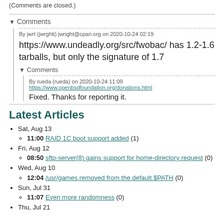(Comments are closed.)
▼ Comments
By jwrt (jwrghti) jwright@cpan.org on 2020-10-24 02:19
https://www.undeadly.org/src/fwobac/ has 1.2-1.6 tarballs, but only the signature of 1.7
▼ Comments
By rueda (rueda) on 2020-10-24 11:09 https://www.openbsdfoundation.org/donations.html
Fixed. Thanks for reporting it.
Latest Articles
Sat, Aug 13
11:00 RAID 1C boot support added (1)
Fri, Aug 12
08:50 sftp-server(8) gains support for home-directory request (0)
Wed, Aug 10
12:04 /usr/games removed from the default $PATH (0)
Sun, Jul 31
11:07 Even more randomness (0)
Thu, Jul 21